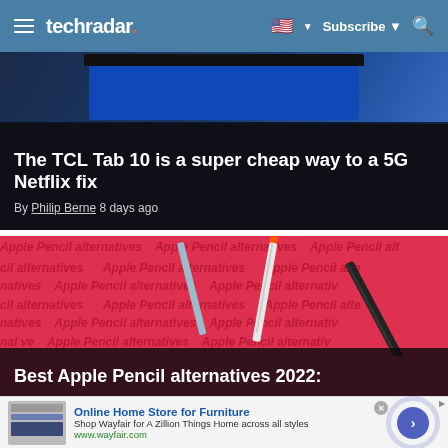techradar
[Figure (screenshot): TCL Tab 10 tablet shown with article overlay: 'The TCL Tab 10 is a super cheap way to a 5G Netflix fix' by Philip Berne, 8 days ago]
The TCL Tab 10 is a super cheap way to a 5G Netflix fix
By Philip Berne 8 days ago
[Figure (photo): Red background with 'Apple Pencil alternatives' watermark text repeated, showing multiple stylus pens in blue, white/orange, and black]
Best Apple Pencil alternatives 2022:
Online Home Store for Furniture
Shop Wayfair for A Zillion Things Home across all styles
www.wayfair.com